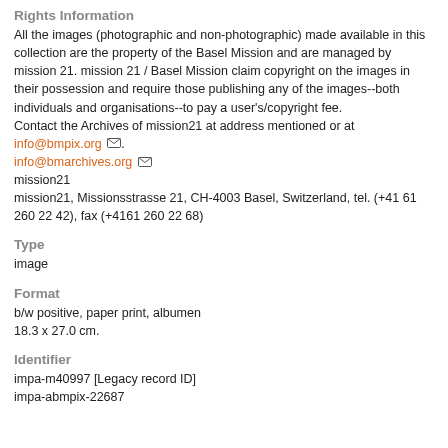Rights Information
All the images (photographic and non-photographic) made available in this collection are the property of the Basel Mission and are managed by mission 21. mission 21 / Basel Mission claim copyright on the images in their possession and require those publishing any of the images--both individuals and organisations--to pay a user's/copyright fee. Contact the Archives of mission21 at address mentioned or at info@bmpix.org info@bmarchives.org mission21 mission21, Missionsstrasse 21, CH-4003 Basel, Switzerland, tel. (+41 61 260 22 42), fax (+4161 260 22 68)
Type
image
Format
b/w positive, paper print, albumen
18.3 x 27.0 cm.
Identifier
impa-m40997 [Legacy record ID]
impa-abmpix-22687